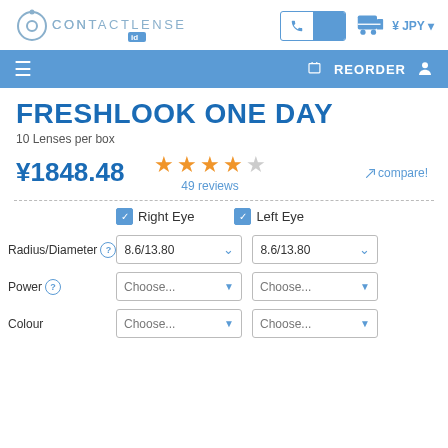[Figure (logo): ContactLenses.id logo with circle icon and blue ID badge]
[Figure (screenshot): Phone/call button with blue box and cart icon with JPY currency selector]
[Figure (screenshot): Blue navigation bar with hamburger menu, REORDER link and user icon]
FRESHLOOK ONE DAY
10 Lenses per box
¥1848.48
[Figure (other): 4 out of 5 star rating in orange]
49 reviews
compare!
Right Eye  Left Eye checkboxes
Radius/Diameter  8.6/13.80  8.6/13.80
Power  Choose...  Choose...
Colour  Choose...  Choose...